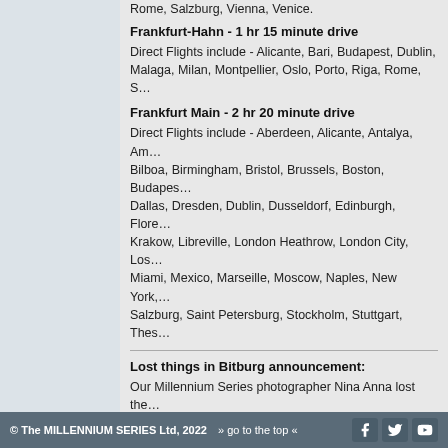Rome, Salzburg, Vienna, Venice.
Frankfurt-Hahn - 1 hr 15 minute drive
Direct Flights include - Alicante, Bari, Budapest, Dublin, Malaga, Milan, Montpellier, Oslo, Porto, Riga, Rome, S…
Frankfurt Main - 2 hr 20 minute drive
Direct Flights include - Aberdeen, Alicante, Antalya, Am… Bilboa, Birmingham, Bristol, Brussels, Boston, Budapes… Dallas, Dresden, Dublin, Dusseldorf, Edinburgh, Flore… Krakow, Libreville, London Heathrow, London City, Los… Miami, Mexico, Marseille, Moscow, Naples, New York, … Salzburg, Saint Petersburg, Stockholm, Stuttgart, Thes…
Lost things in Bitburg announcement:
Our Millennium Series photographer Nina Anna lost the… found it, we would be very much grateful if you can retu… to miss any of it.
Sunrise-Sunset [Airport EDRB]
Thursday: 5:54 - 21:06
Friday: 5:52 - 21:08
Saturday: 5:51 - 21:09
Sunday: 5:50 - 21:10
Permalink: https://www.millennium-series.com/events.php?event=T
Page content above last updated: 2021-06-05 23:05:37 CET
CPL field
| Date | Time | Slot 1 | Slot 2 |
| --- | --- | --- | --- |
© The MILLENNIUM SERIES Ltd, 2022  » go to the top «